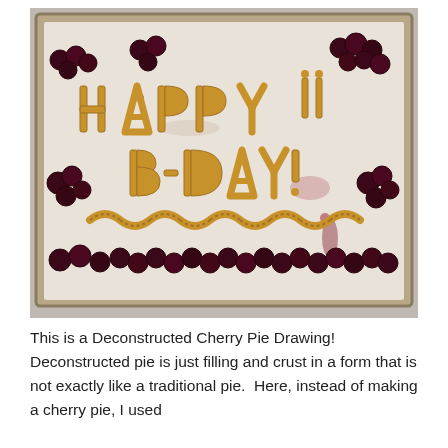[Figure (photo): A photograph of a deconstructed cherry pie arranged on a baking sheet with parchment paper. The pie crust has been shaped into letters spelling 'HAPPY B-DAY!' with dark cherries and cherry filling arranged decoratively around the text. The crust letters are golden-brown and the cherries create a border along the edges.]
This is a Deconstructed Cherry Pie Drawing!  Deconstructed pie is just filling and crust in a form that is not exactly like a traditional pie.  Here, instead of making a cherry pie, I used